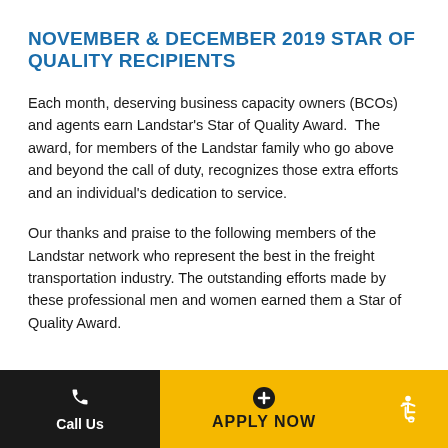NOVEMBER & DECEMBER 2019 STAR OF QUALITY RECIPIENTS
Each month, deserving business capacity owners (BCOs) and agents earn Landstar's Star of Quality Award.  The award, for members of the Landstar family who go above and beyond the call of duty, recognizes those extra efforts and an individual's dedication to service.
Our thanks and praise to the following members of the Landstar network who represent the best in the freight transportation industry. The outstanding efforts made by these professional men and women earned them a Star of Quality Award.
Call Us   APPLY NOW